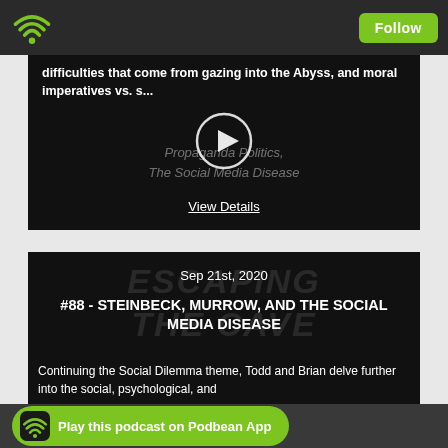[Figure (screenshot): Top navigation bar with green wifi/Podbean logo icon on left and green Follow button on right, dark background]
[Figure (screenshot): First podcast card with dark background, white bold text truncated 'difficulties that come from gazing into the Abyss, and moral imperatives vs. s...', circular play button in center, italic semi-transparent text 'Propaganda Politics, The Social Media Disease', and 'View Details' link underlined at bottom]
difficulties that come from gazing into the Abyss, and moral imperatives vs. s...
Propaganda Politics,
The Social Media Disease
View Details
Sep 21st, 2020
#88 - STEINBECK, MURROW, AND THE SOCIAL MEDIA DISEASE
Continuing the Social Dilemma theme, Todd and Brian delve further into the social, psychological, and
Play this podcast on Podbean App